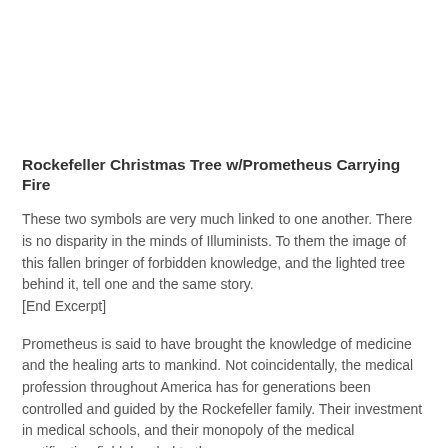Rockefeller Christmas Tree w/Prometheus Carrying Fire
These two symbols are very much linked to one another. There is no disparity in the minds of Illuminists. To them the image of this fallen bringer of forbidden knowledge, and the lighted tree behind it, tell one and the same story. [End Excerpt]
Prometheus is said to have brought the knowledge of medicine and the healing arts to mankind. Not coincidentally, the medical profession throughout America has for generations been controlled and guided by the Rockefeller family. Their investment in medical schools, and their monopoly of the medical certification field, has led to the